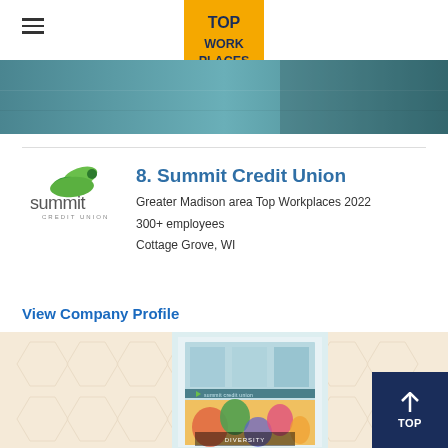TOP WORK PLACES
[Figure (logo): Top Work Places badge - gold/orange pennant shape with text TOP WORK PLACES]
[Figure (photo): Teal/blue banner photo background]
[Figure (logo): Summit Credit Union logo - green bird/leaf graphic with summit credit union text]
8. Summit Credit Union
Greater Madison area Top Workplaces 2022
300+ employees
Cottage Grove, WI
View Company Profile
[Figure (photo): Photo of Summit Credit Union building exterior with colorful mural and diversity signage, on cream/beige hexagonal pattern background]